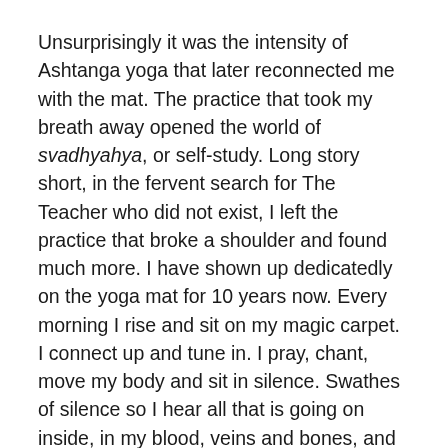Unsurprisingly it was the intensity of Ashtanga yoga that later reconnected me with the mat. The practice that took my breath away opened the world of svadhyahya, or self-study. Long story short, in the fervent search for The Teacher who did not exist, I left the practice that broke a shoulder and found much more. I have shown up dedicatedly on the yoga mat for 10 years now. Every morning I rise and sit on my magic carpet. I connect up and tune in. I pray, chant, move my body and sit in silence. Swathes of silence so I hear all that is going on inside, in my blood, veins and bones, and the incredible chatter in my head.
Have you heard this noise in your head? It is deafening in the quiet of the ambrosial hour. My magic carpet is a great illuminator. I create space in my body every darned day so I have room to step many steps back and breathe when the external world is fiery.